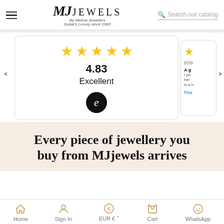[Figure (logo): MJ Jewels logo with hamburger menu and search bar]
[Figure (infographic): Review card showing 5 gold stars, rating 4.83, Excellent, with eKomi badge. Partial second card visible on right.]
Every piece of jewellery you buy from MJjewels arrives
Home | Sign In | EUR € | Cart | WhatsApp